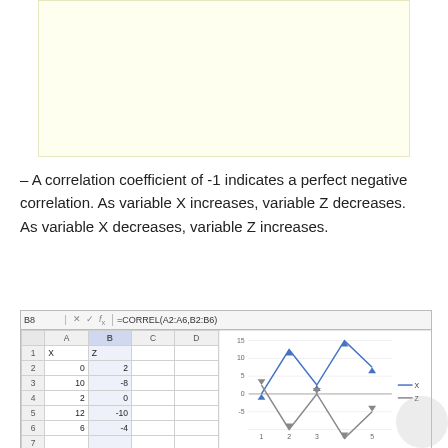[Figure (other): Yellow shaded box at the top of the page (content area placeholder)]
– A correlation coefficient of -1 indicates a perfect negative correlation. As variable X increases, variable Z decreases. As variable X decreases, variable Z increases.
[Figure (screenshot): Excel spreadsheet screenshot showing columns X and Z with data (0,2), (10,-8), (2,0), (12,-10), (6,-4) and cell B8 containing formula =CORREL(A2:A6,B2:B6) with result -1, alongside a line chart showing X and Z values plotted against 5 data points.]